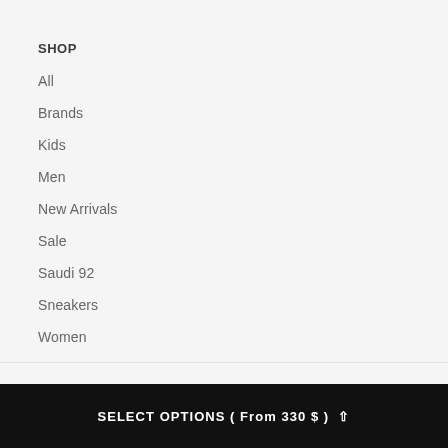SHOP
All
Brands
Kids
Men
New Arrivals
Sale
Saudi 92
Sneakers
Women
BRANDS
SELECT OPTIONS ( From 330 $ ) ^